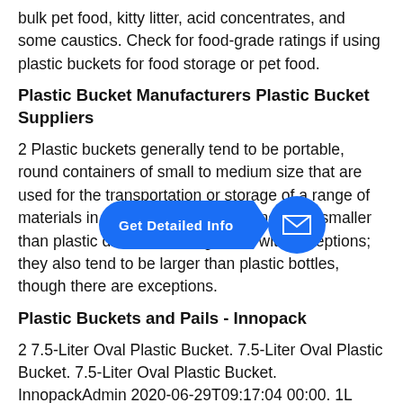bulk pet food, kitty litter, acid concentrates, and some caustics. Check for food-grade ratings if using plastic buckets for food storage or pet food.
Plastic Bucket Manufacturers Plastic Bucket Suppliers
2 Plastic buckets generally tend to be portable, round containers of small to medium size that are used for the transportation or storage of a range of materials in small quantities and tend to be smaller than plastic drums or storage bins with exceptions; they also tend to be larger than plastic bottles, though there are exceptions.
[Figure (infographic): Blue UI overlay: a rounded pill-shaped button labeled 'Get Detailed Info' with an arrow pointing right, followed by a blue circle with an envelope/mail icon.]
Plastic Buckets and Pails - Innopack
2 7.5-Liter Oval Plastic Bucket. 7.5-Liter Oval Plastic Bucket. 7.5-Liter Oval Plastic Bucket. InnopackAdmin 2020-06-29T09:17:04 00:00. 1L